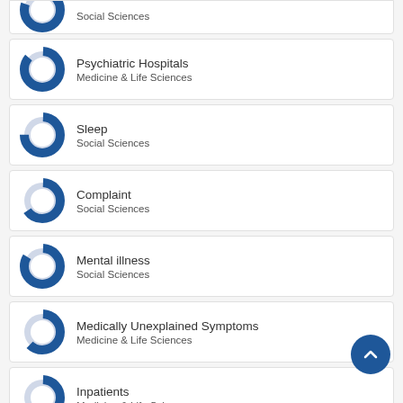[Figure (donut-chart): Donut chart showing partial fill, Social Sciences]
Social Sciences
[Figure (donut-chart): Donut chart showing large fill, Psychiatric Hospitals, Medicine & Life Sciences]
Psychiatric Hospitals
Medicine & Life Sciences
[Figure (donut-chart): Donut chart showing partial fill, Sleep, Social Sciences]
Sleep
Social Sciences
[Figure (donut-chart): Donut chart showing partial fill, Complaint, Social Sciences]
Complaint
Social Sciences
[Figure (donut-chart): Donut chart showing large fill, Mental illness, Social Sciences]
Mental illness
Social Sciences
[Figure (donut-chart): Donut chart showing partial fill, Medically Unexplained Symptoms, Medicine & Life Sciences]
Medically Unexplained Symptoms
Medicine & Life Sciences
[Figure (donut-chart): Donut chart showing partial fill, Inpatients, Medicine & Life Sciences]
Inpatients
Medicine & Life Sciences